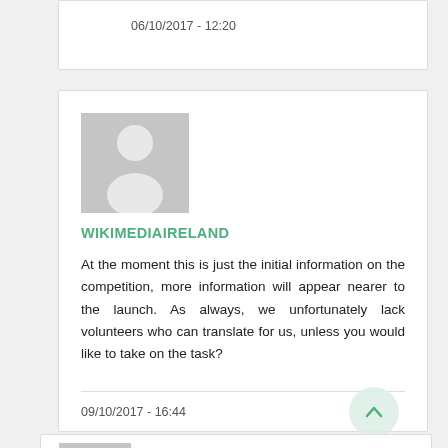06/10/2017 - 12:20
[Figure (illustration): User avatar placeholder silhouette (grey background with white person silhouette)]
WIKIMEDIAIRELAND
At the moment this is just the initial information on the competition, more information will appear nearer to the launch. As always, we unfortunately lack volunteers who can translate for us, unless you would like to take on the task?
09/10/2017 - 16:44
[Figure (illustration): Partial user avatar placeholder silhouette (grey background with white person silhouette), bottom of page]